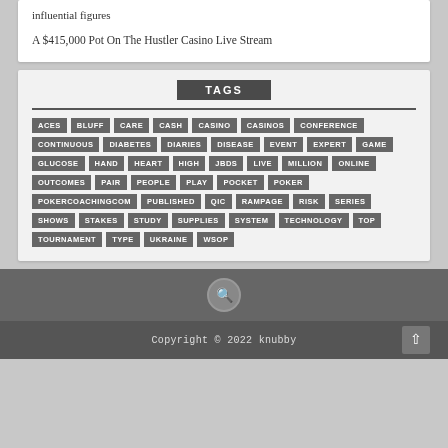influential figures
A $415,000 Pot On The Hustler Casino Live Stream
TAGS
ACES
BLUFF
CARE
CASH
CASINO
CASINOS
CONFERENCE
CONTINUOUS
DIABETES
DIARIES
DISEASE
EVENT
EXPERT
GAME
GLUCOSE
HAND
HEART
HIGH
JBDS
LIVE
MILLION
ONLINE
OUTCOMES
PAIR
PEOPLE
PLAY
POCKET
POKER
POKERCOACHINGCOM
PUBLISHED
QIC
RAMPAGE
RISK
SERIES
SHOWS
STAKES
STUDY
SUPPLIES
SYSTEM
TECHNOLOGY
TOP
TOURNAMENT
TYPE
UKRAINE
WSOP
Copyright © 2022 knubby